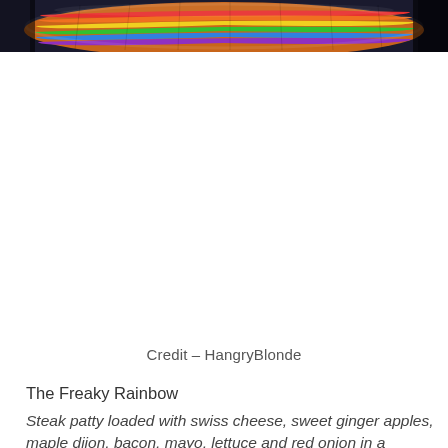[Figure (photo): Close-up photo of a rainbow-colored braided or twisted burger bun with vibrant colors including red, orange, yellow, green, blue, and purple, against a dark background.]
Credit – HangryBlonde
The Freaky Rainbow
Steak patty loaded with swiss cheese, sweet ginger apples, maple dijon, bacon, mayo, lettuce and red onion in a toasted